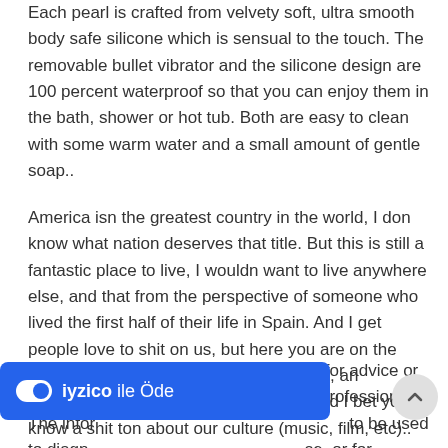Each pearl is crafted from velvety soft, ultra smooth body safe silicone which is sensual to the touch. The removable bullet vibrator and the silicone design are 100 percent waterproof so that you can enjoy them in the bath, shower or hot tub. Both are easy to clean with some warm water and a small amount of gentle soap..
America isn the greatest country in the world, I don know what nation deserves that title. But this is still a fantastic place to live, I wouldn want to live anywhere else, and that from the perspective of someone who lived the first half of their life in Spain. And I get people love to shit on us, but here you are on the Internet, an DARPA invention, on Reddit, an American site, discussing our politics and I bet you know a shit ton about our culture (music, film, etc)..
It is not meant to and cannot substitute for advice or care provided by an in person medical professional. The information... to be used to diagn... se, or for